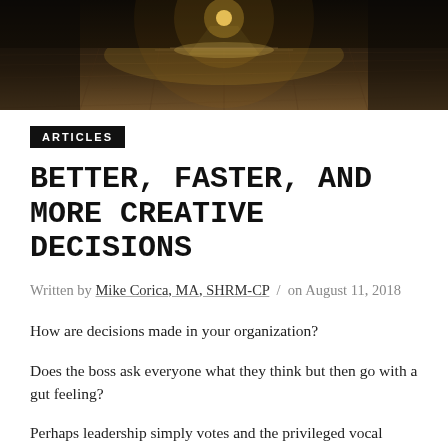[Figure (photo): Hero image showing a dimly lit gymnasium or sports court floor with wooden flooring, viewed from a low angle. A bright light source (overhead lamp) is visible in the background creating a bokeh effect.]
ARTICLES
BETTER, FASTER, AND MORE CREATIVE DECISIONS
Written by Mike Corica, MA, SHRM-CP / on August 11, 2018
How are decisions made in your organization?
Does the boss ask everyone what they think but then go with a gut feeling?
Perhaps leadership simply votes and the privileged vocal majority hold sway?